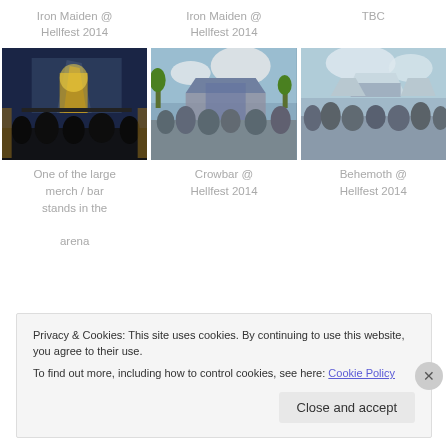Iron Maiden @ Hellfest 2014
Iron Maiden @ Hellfest 2014
TBC
[Figure (photo): Concert stage at night with bright lights and crowd silhouettes]
[Figure (photo): Outdoor music festival stage with crowd and blue sky]
[Figure (photo): Outdoor festival stage with crowd in daylight]
One of the large merch / bar stands in the arena
Crowbar @ Hellfest 2014
Behemoth @ Hellfest 2014
Privacy & Cookies: This site uses cookies. By continuing to use this website, you agree to their use.
To find out more, including how to control cookies, see here: Cookie Policy
Close and accept